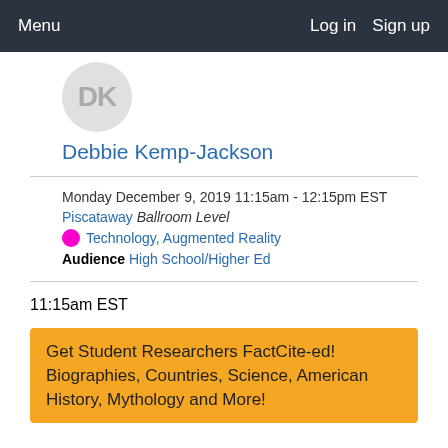Menu   Log in   Sign up
[Figure (illustration): User avatar circle with initials 'DK' in gray on light gray background]
Debbie Kemp-Jackson
Monday December 9, 2019 11:15am - 12:15pm EST
Piscataway Ballroom Level
Technology, Augmented Reality
Audience High School/Higher Ed
11:15am EST
Get Student Researchers FactCite-ed! Biographies, Countries, Science, American History, Mythology and More!